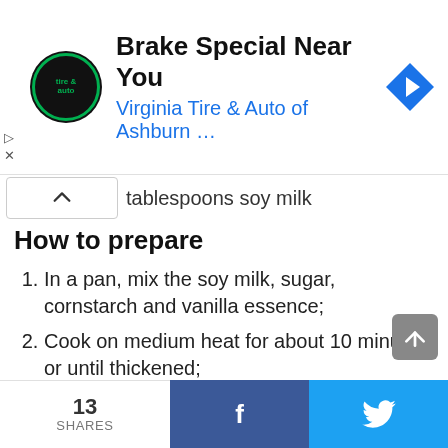[Figure (screenshot): Advertisement banner for Virginia Tire & Auto of Ashburn showing logo, headline 'Brake Special Near You', and a blue navigation arrow icon]
tablespoons soy milk
How to prepare
In a pan, mix the soy milk, sugar, cornstarch and vanilla essence;
Cook on medium heat for about 10 minutes or until thickened;
Turn off the fire and take the cream to freeze;
With the ice cream, add the scraps of a lemon and beat in the mixer for 2 minutes;
On a platter, place the cut strawberries in half
13 SHARES  f  🐦